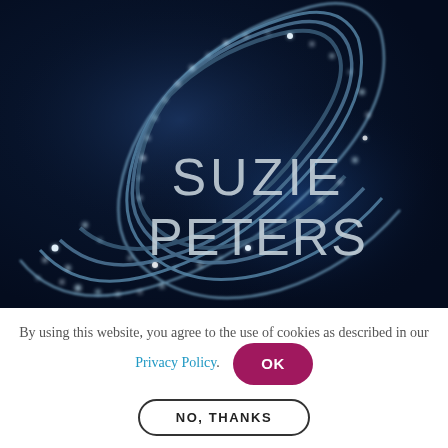[Figure (photo): Dark blue macro photograph of a spiraling jewelry necklace with glittering beads/bubbles on a deep navy background, with text overlay reading 'SUZIE PETERS' in large light gray/silver uppercase letters]
By using this website, you agree to the use of cookies as described in our Privacy Policy.
NO, THANKS